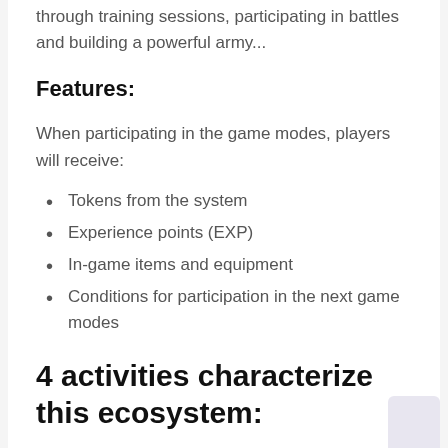through training sessions, participating in battles and building a powerful army...
Features:
When participating in the game modes, players will receive:
Tokens from the system
Experience points (EXP)
In-game items and equipment
Conditions for participation in the next game modes
4 activities characterize this ecosystem: